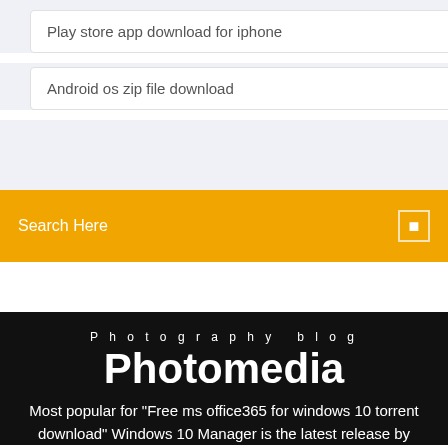Play store app download for iphone
Android os zip file download
Search Here
Photography blog
Photomedia
Most popular for "Free ms office365 for windows 10 torrent download" Windows 10 Manager is the latest release by